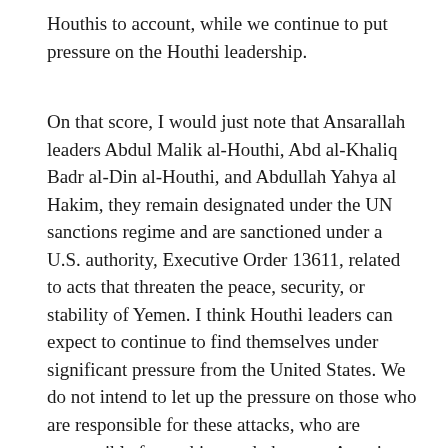Houthis to account, while we continue to put pressure on the Houthi leadership.
On that score, I would just note that Ansarallah leaders Abdul Malik al-Houthi, Abd al-Khaliq Badr al-Din al-Houthi, and Abdullah Yahya al Hakim, they remain designated under the UN sanctions regime and are sanctioned under a U.S. authority, Executive Order 13611, related to acts that threaten the peace, security, or stability of Yemen. I think Houthi leaders can expect to continue to find themselves under significant pressure from the United States. We do not intend to let up the pressure on those who are responsible for these attacks, who are responsible for seeking to do harm to American citizens, who are responsible for seeking to do harm to our Saudi partners.